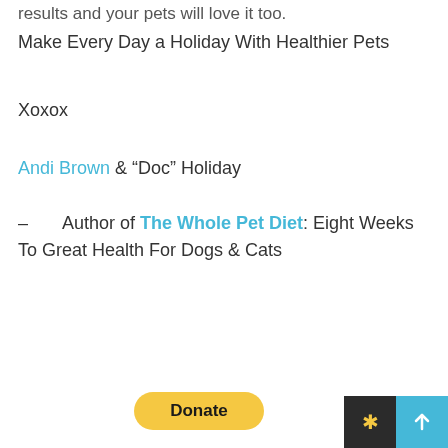results and your pets will love it too.
Make Every Day a Holiday With Healthier Pets
Xoxox
Andi Brown & “Doc” Holiday
– Author of The Whole Pet Diet: Eight Weeks To Great Health For Dogs & Cats